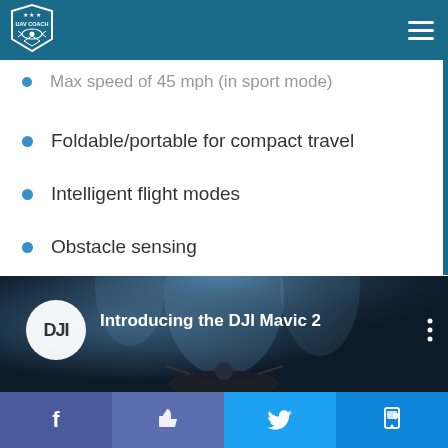UAV Coach
Max speed of 45 mph (in sport mode)
Foldable/portable for compact travel
Intelligent flight modes
Obstacle sensing
[Figure (screenshot): YouTube video thumbnail for 'Introducing the DJI Mavic 2' with DJI logo circle and dark drone background]
Social share bar with Facebook, Like, Twitter, and chat icons